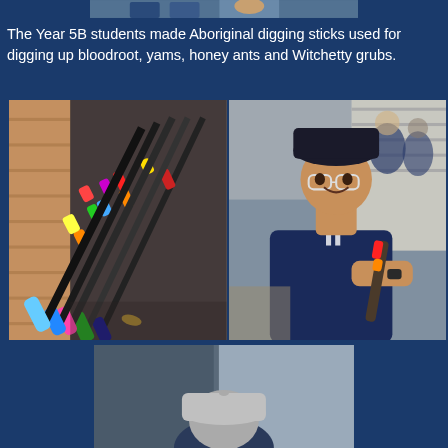[Figure (photo): Top portion of a photo showing students, partially cropped at top of page]
The Year 5B students made Aboriginal digging sticks used for digging up bloodroot, yams, honey ants and Witchetty grubs.
[Figure (photo): Two photos side by side: left shows colorfully painted Aboriginal digging sticks leaning against a brick wall on pavement; right shows a smiling student wearing glasses and a navy hat holding a decorated digging stick, with other students visible in background]
[Figure (photo): Bottom photo partially visible showing a student from behind wearing a grey hat]